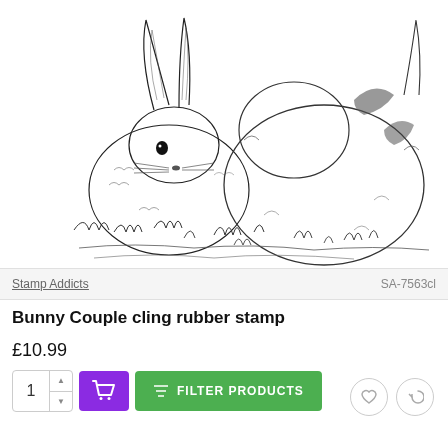[Figure (illustration): Black and white pencil sketch illustration of two rabbits (bunny couple) sitting together in grass, facing each other.]
Stamp Addicts
SA-7563cl
Bunny Couple cling rubber stamp
£10.99
FILTER PRODUCTS